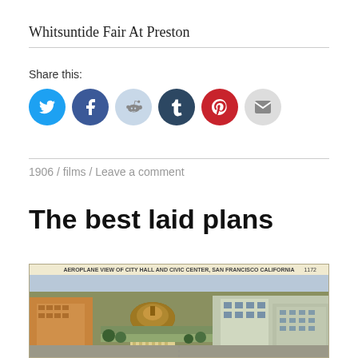Whitsuntide Fair At Preston
Share this:
[Figure (other): Social sharing icons: Twitter (blue), Facebook (dark blue), Reddit (light blue-gray), Tumblr (dark navy), Pinterest (red), Email (gray)]
1906 / films / Leave a comment
The best laid plans
[Figure (photo): Vintage postcard aerial view of City Hall and Civic Center, San Francisco, California, numbered 1172]